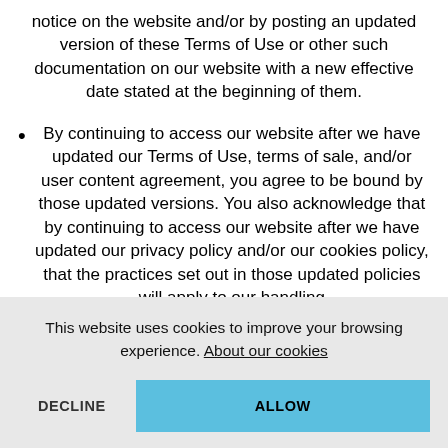notice on the website and/or by posting an updated version of these Terms of Use or other such documentation on our website with a new effective date stated at the beginning of them.
By continuing to access our website after we have updated our Terms of Use, terms of sale, and/or user content agreement, you agree to be bound by those updated versions. You also acknowledge that by continuing to access our website after we have updated our privacy policy and/or our cookies policy, that the practices set out in those updated policies will apply to our handling
This website uses cookies to improve your browsing experience. About our cookies